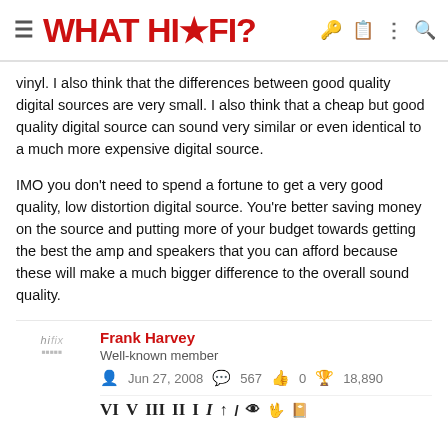≡  WHAT HI·FI?
vinyl. I also think that the differences between good quality digital sources are very small. I also think that a cheap but good quality digital source can sound very similar or even identical to a much more expensive digital source.
IMO you don't need to spend a fortune to get a very good quality, low distortion digital source. You're better saving money on the source and putting more of your budget towards getting the best the amp and speakers that you can afford because these will make a much bigger difference to the overall sound quality.
Frank Harvey
Well-known member
Jun 27, 2008  567  0  18,890